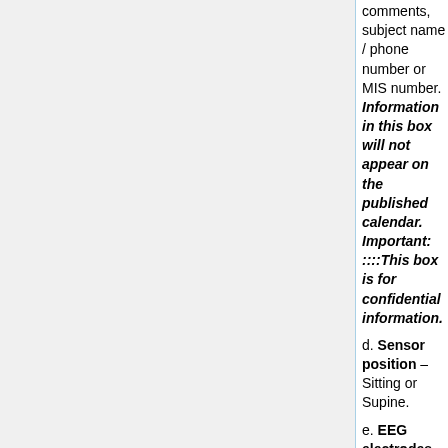comments, subject name / phone number or MIS number. Information in this box will not appear on the published calendar. Important: ::::This box is for confidential information.
d. Sensor position – Sitting or Supine.
e. EEG electrodes – indicate whether EEG, EOG, EMG electrodes will be used.
f. Date
g. Time - military time.
h. Duration – indicate how much time needed to complete your study.